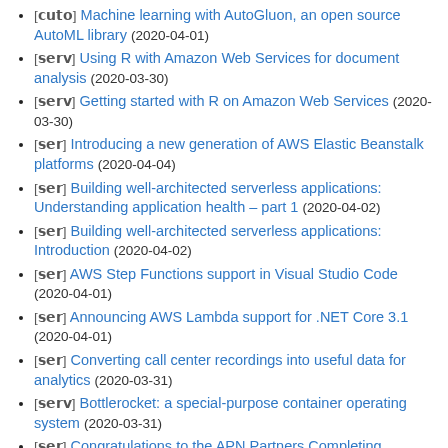[𝖠𝗎𝗍𝗈] Machine learning with AutoGluon, an open source AutoML library (2020-04-01)
[𝗌𝖾𝗋𝗏] Using R with Amazon Web Services for document analysis (2020-03-30)
[𝗌𝖾𝗋𝗏] Getting started with R on Amazon Web Services (2020-03-30)
[𝗌𝖾𝗋] Introducing a new generation of AWS Elastic Beanstalk platforms (2020-04-04)
[𝗌𝖾𝗋] Building well-architected serverless applications: Understanding application health – part 1 (2020-04-02)
[𝗌𝖾𝗋] Building well-architected serverless applications: Introduction (2020-04-02)
[𝗌𝖾𝗋] AWS Step Functions support in Visual Studio Code (2020-04-01)
[𝗌𝖾𝗋] Announcing AWS Lambda support for .NET Core 3.1 (2020-04-01)
[𝗌𝖾𝗋] Converting call center recordings into useful data for analytics (2020-03-31)
[𝗌𝖾𝗋𝗏] Bottlerocket: a special-purpose container operating system (2020-03-31)
[𝗌𝖾𝗋] Congratulations to the APN Partners Completing…